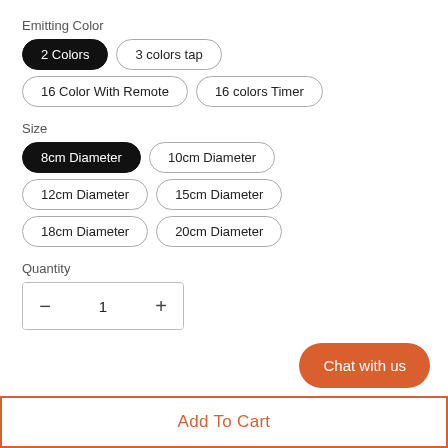Emitting Color
2 Colors (selected)
3 colors tap
16 Color With Remote
16 colors Timer
Size
8cm Diameter (selected)
10cm Diameter
12cm Diameter
15cm Diameter
18cm Diameter
20cm Diameter
Quantity
1
Chat with us
Add To Cart